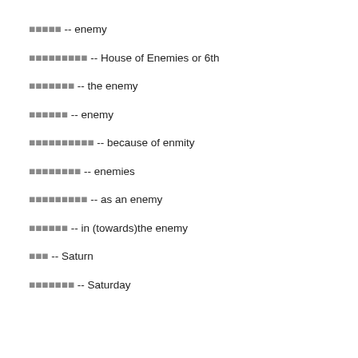█████ -- enemy
█████████ -- House of Enemies or 6th
███████ -- the enemy
███████ -- enemy
██████████ -- because of enmity
████████ -- enemies
█████████ -- as an enemy
██████ -- in (towards)the enemy
███ -- Saturn
███████ -- Saturday